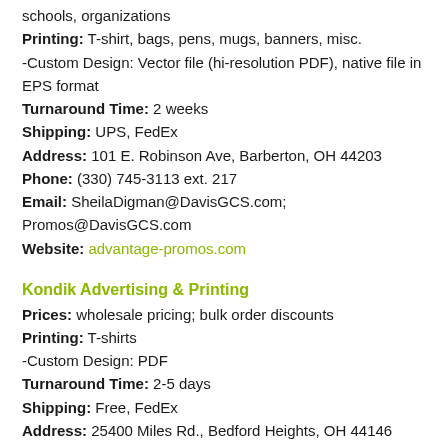schools, organizations
Printing: T-shirt, bags, pens, mugs, banners, misc.
-Custom Design: Vector file (hi-resolution PDF), native file in EPS format
Turnaround Time: 2 weeks
Shipping: UPS, FedEx
Address: 101 E. Robinson Ave, Barberton, OH 44203
Phone: (330) 745-3113 ext. 217
Email: SheilaDigman@DavisGCS.com; Promos@DavisGCS.com
Website: advantage-promos.com
Kondik Advertising & Printing
Prices: wholesale pricing; bulk order discounts
Printing: T-shirts
-Custom Design: PDF
Turnaround Time: 2-5 days
Shipping: Free, FedEx
Address: 25400 Miles Rd., Bedford Heights, OH 44146